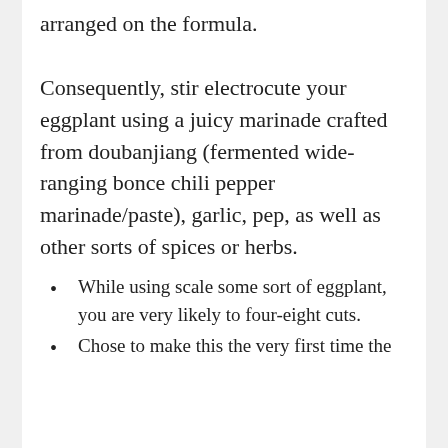arranged on the formula. Consequently, stir electrocute your eggplant using a juicy marinade crafted from doubanjiang (fermented wide-ranging bonce chili pepper marinade/paste), garlic, pep, as well as other sorts of spices or herbs.
While using scale some sort of eggplant, you are very likely to four-eight cuts.
Chose to make this the very first time the